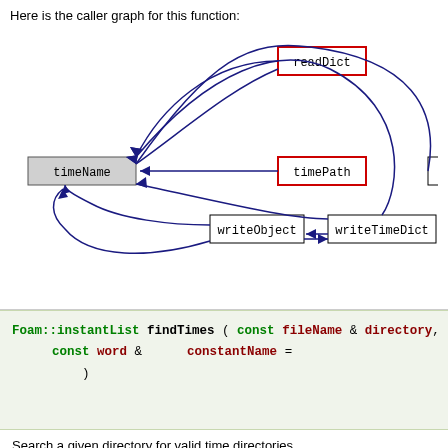Here is the caller graph for this function:
[Figure (network-graph): Caller graph showing nodes: readDict (red border), timePath (red border), timeName (gray fill), writeObject, writeTimeDict, and an off-screen node. Arrows connect: readDict -> timeName, timePath -> timeName, writeObject <-> writeTimeDict, writeTimeDict -> timeName, writeObject -> timeName, and a curved arrow from off-screen node back to timeName.]
Foam::instantList findTimes ( const fileName &  directory,
                                    const word &        constantName =
                                    )
Search a given directory for valid time directories.
Definition at line 38 of file findTimes.C.